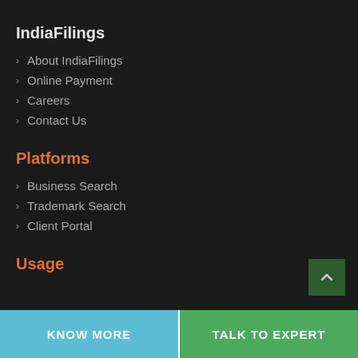IndiaFilings
About IndiaFilings
Online Payment
Careers
Contact Us
Platforms
Business Search
Trademark Search
Client Portal
Usage
KNOW MORE   TALK TO EXPERT